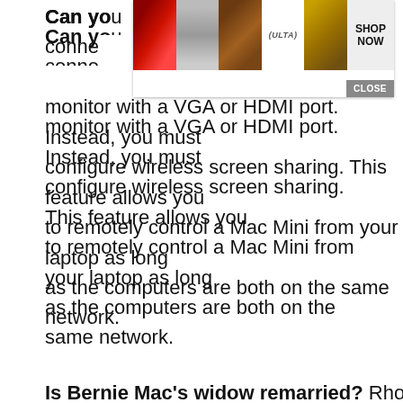[Figure (screenshot): Top banner advertisement for Ulta Beauty showing makeup images (lips, brush, eye, Ulta logo, model) with 'SHOP NOW' button and 'CLOSE' button overlay]
Can you connect the laptop to your Mac mini with a dual monitor with a VGA or HDMI port. Instead, you must configure wireless screen sharing. This feature allows you to remotely control a Mac Mini from your laptop as long as the computers are both on the same network.
Is Bernie Mac's widow remarried? Rhonda McCullough-Gilmore is the widow of Bernie Mac. She has not remarried, thus explaining her... serves as the head of a charitable... of a number of her ...
[Figure (screenshot): Black video overlay box in lower right portion of screen]
Vorgeschlagene Produkte
[Figure (screenshot): Macy's advertisement banner with 'KISS BORING LIPS GOODBYE' text, 'SHOP NOW' button and Macy's star logo]